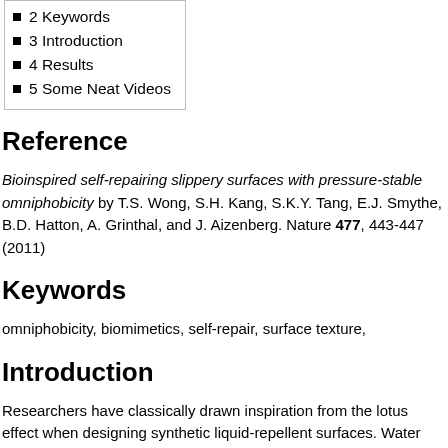2 Keywords
3 Introduction
4 Results
5 Some Neat Videos
Reference
Bioinspired self-repairing slippery surfaces with pressure-stable omniphobicity by T.S. Wong, S.H. Kang, S.K.Y. Tang, E.J. Smythe, B.D. Hatton, A. Grinthal, and J. Aizenberg. Nature 477, 443-447 (2011)
Keywords
omniphobicity, biomimetics, self-repair, surface texture,
Introduction
Researchers have classically drawn inspiration from the lotus effect when designing synthetic liquid-repellent surfaces. Water droplets are able to easily roll off a lotus leaf because they are supported by surface textures on a composite solid-air interface. However, this